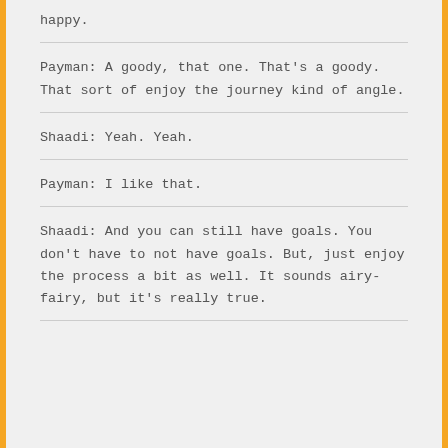happy.
Payman: A goody, that one. That's a goody. That sort of enjoy the journey kind of angle.
Shaadi: Yeah. Yeah.
Payman: I like that.
Shaadi: And you can still have goals. You don't have to not have goals. But, just enjoy the process a bit as well. It sounds airy-fairy, but it's really true.